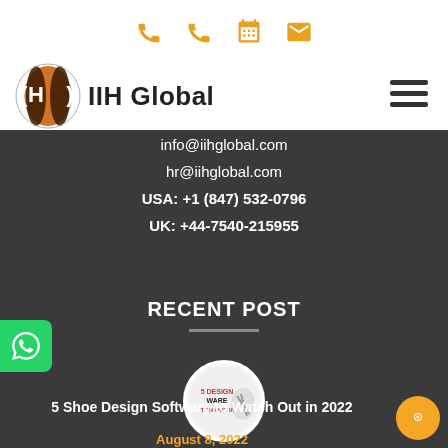[Figure (logo): IIH Global logo with globe icon and hamburger menu on white header bar with orange contact icons]
info@iihglobal.com
hr@iihglobal.com
USA: +1 (847) 532-0796
UK: +44-7540-215955
RECENT POST
[Figure (photo): Circular thumbnail image with text: 5 DESIGN WARE ITCH OUT IN with a shoe illustration]
5 Shoe Design Software to Watch Out in 2022
August 8, 2022